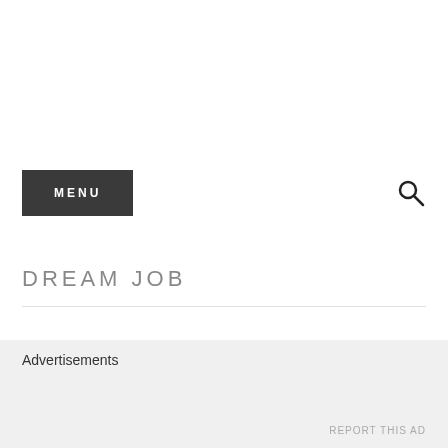[Figure (screenshot): MENU button (dark background, white text) on the left and a search (magnifying glass) icon on the right]
DREAM JOB
THIRD MAN RECORDS, JACK
Advertisements
REPORT THIS AD